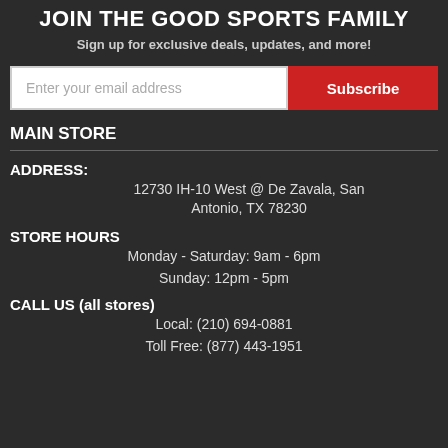JOIN THE GOOD SPORTS FAMILY
Sign up for exclusive deals, updates, and more!
[Figure (other): Email input field with placeholder 'Enter your email address' and a red Subscribe button]
MAIN STORE
ADDRESS:
12730 IH-10 West @ De Zavala, San Antonio, TX 78230
STORE HOURS
Monday - Saturday: 9am - 6pm
Sunday: 12pm - 5pm
CALL US (all stores)
Local: (210) 694-0881
Toll Free: (877) 443-1951